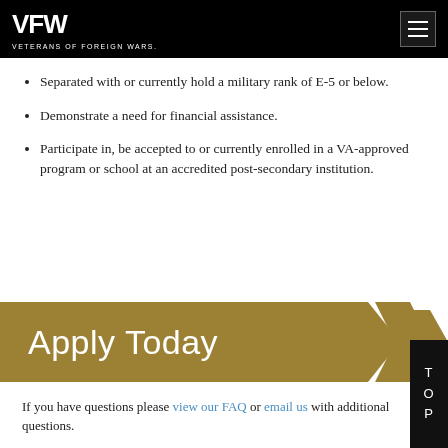VFW – Veterans of Foreign Wars
Separated with or currently hold a military rank of E-5 or below.
Demonstrate a need for financial assistance.
Participate in, be accepted to or currently enrolled in a VA-approved program or school at an accredited post-secondary institution.
[Figure (other): Apply Today gold banner button with chevron shape]
If you have questions please view our FAQ or email us with additional questions.